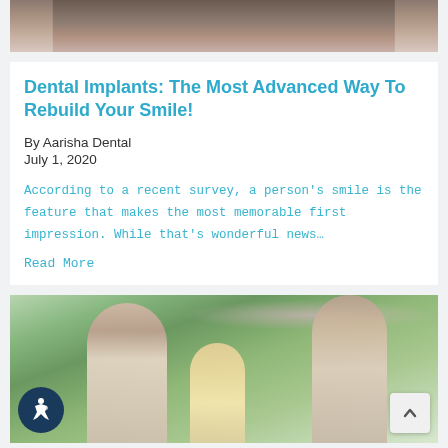[Figure (photo): Partial photo of a person smiling, cropped at top of page]
Dental Implants: The Most Advanced Way To Rebuild Your Smile!
By Aarisha Dental
July 1, 2020
According to a recent survey, a person's smile is the feature that makes the most memorable first impression. While that's wonderful news…
Read More
[Figure (photo): Photo of a smiling family (man, woman, children) outdoors with green foliage background]